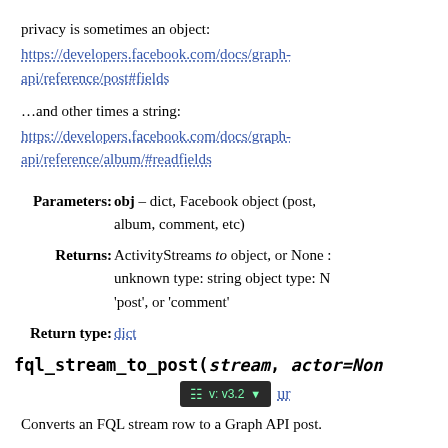privacy is sometimes an object:
https://developers.facebook.com/docs/graph-api/reference/post#fields
…and other times a string:
https://developers.facebook.com/docs/graph-api/reference/album/#readfields
Parameters: obj – dict, Facebook object (post, album, comment, etc)
Returns: ActivityStreams to object, or None unknown type: string object type: N 'post', or 'comment'
Return type: dict
fql_stream_to_post(stream, actor=Non
v: v3.2
Converts an FQL stream row to a Graph API post.
Currently unused and untested! Use at your own risk